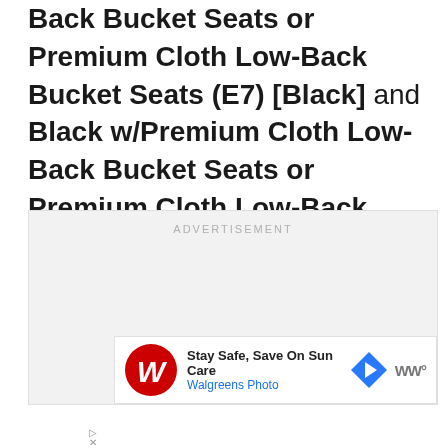Back Bucket Seats or Premium Cloth Low-Back Bucket Seats (E7) [Black] and Black w/Premium Cloth Low-Back Bucket Seats or Premium Cloth Low-Back Bucket Seats (E7) [Black].
[Figure (other): Advertisement placeholder box with 'ADVERTISEMENT' label, and a Walgreens Photo ad banner at the bottom showing 'Stay Safe, Save On Sun Care' with Walgreens logo.]